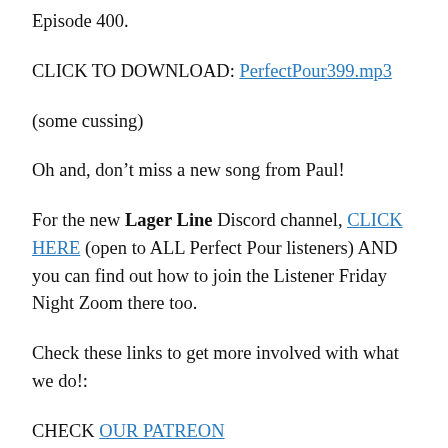Episode 400.
CLICK TO DOWNLOAD: PerfectPour399.mp3
(some cussing)
Oh and, don’t miss a new song from Paul!
For the new Lager Line Discord channel, CLICK HERE (open to ALL Perfect Pour listeners) AND you can find out how to join the Listener Friday Night Zoom there too.
Check these links to get more involved with what we do!:
CHECK OUR PATREON